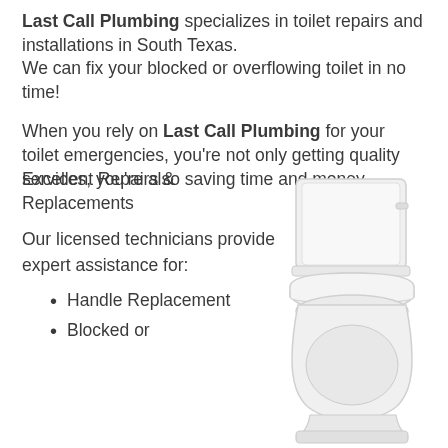Last Call Plumbing specializes in toilet repairs and installations in South Texas. We can fix your blocked or overflowing toilet in no time!
When you rely on Last Call Plumbing for your toilet emergencies, you're not only getting quality services, you're also saving time and money.
Excellent Repairs & Replacements
Our licensed technicians provide expert assistance for:
Handle Replacement
Blocked or
[Figure (photo): White toilet (tank and bowl) shown from a side-front angle on a white background]